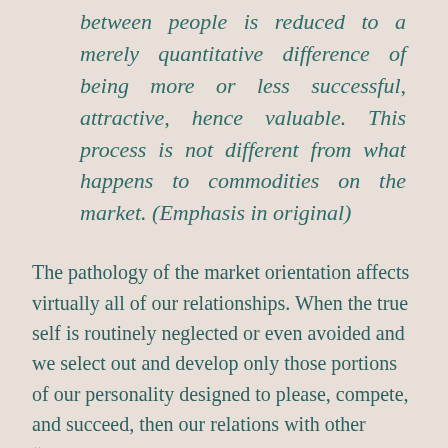between people is reduced to a merely quantitative difference of being more or less successful, attractive, hence valuable. This process is not different from what happens to commodities on the market. (Emphasis in original)
The pathology of the market orientation affects virtually all of our relationships. When the true self is routinely neglected or even avoided and we select out and develop only those portions of our personality designed to please, compete, and succeed, then our relations with other “commodities” become by necessity both superficial and unloving. Competition